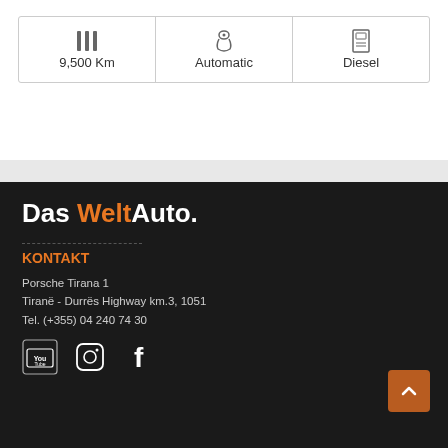[Figure (infographic): Car specs row: mileage icon with 9,500 Km, gear/automatic icon with Automatic, fuel icon with Diesel]
[Figure (logo): Das WeltAuto. logo — Das and Auto. in white, Welt in orange]
KONTAKT
Porsche Tirana 1
Tiranë - Durrës Highway km.3, 1051
Tel. (+355) 04 240 74 30
[Figure (infographic): Social media icons: YouTube, Instagram, Facebook]
COPYRIGHT ©2022 DAS WELTAUTO    DESIGN BY: 1UP LABS
Social Media Auto Publish Powered By : XYZScripts.com